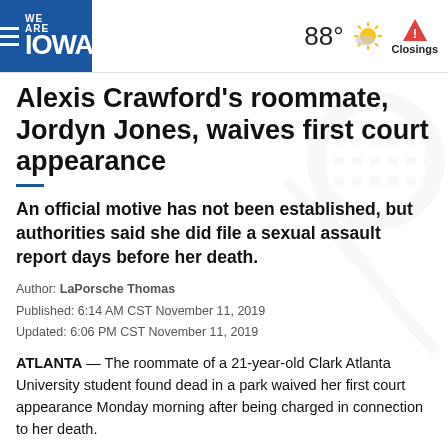WE ARE IOWA | 88° Closings
Alexis Crawford's roommate, Jordyn Jones, waives first court appearance
An official motive has not been established, but authorities said she did file a sexual assault report days before her death.
Author: LaPorsche Thomas
Published: 6:14 AM CST November 11, 2019
Updated: 6:06 PM CST November 11, 2019
ATLANTA — The roommate of a 21-year-old Clark Atlanta University student found dead in a park waived her first court appearance Monday morning after being charged in connection to her death.
Authorities charged Jordyn Jones with malice murder in the death of Alexis Crawford. A date and time will next be set